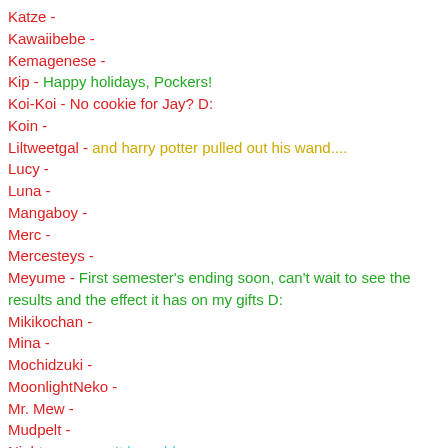Katze -
Kawaiibebe -
Kemagenese -
Kip - Happy holidays, Pockers!
Koi-Koi - No cookie for Jay? D:
Koin -
Liltweetgal - and harry potter pulled out his wand....
Lucy -
Luna -
Mangaboy -
Merc -
Mercesteys -
Meyume - First semester's ending soon, can't wait to see the results and the effect it has on my gifts D:
Mikikochan -
Mina -
Mochidzuki -
MoonlightNeko -
Mr. Mew -
Mudpelt -
Nightmaresan - It be cold.
Nippou -